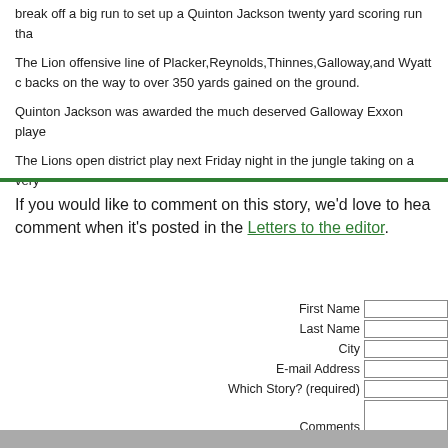break off a big run to set up a Quinton Jackson twenty yard scoring run tha...
The Lion offensive line of Placker,Reynolds,Thinnes,Galloway,and Wyatt c... backs on the way to over 350 yards gained on the ground.
Quinton Jackson was awarded the much deserved Galloway Exxon playe...
The Lions open district play next Friday night in the jungle taking on a very...
If you would like to comment on this story, we'd love to hea... comment when it's posted in the Letters to the editor.